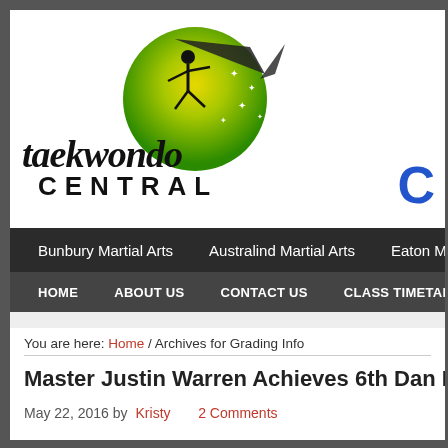[Figure (logo): Taekwondo Central logo with green/yellow circular globe graphic and martial arts figure, with stylized 'taekwondo CENTRAL' text]
Bunbury Martial Arts   Australind Martial Arts   Eaton Ma...
HOME   ABOUT US   CONTACT US   CLASS TIMETABLE
You are here: Home / Archives for Grading Info
Master Justin Warren Achieves 6th Dan Black Belt In...
May 22, 2016 by Kristy   2 Comments